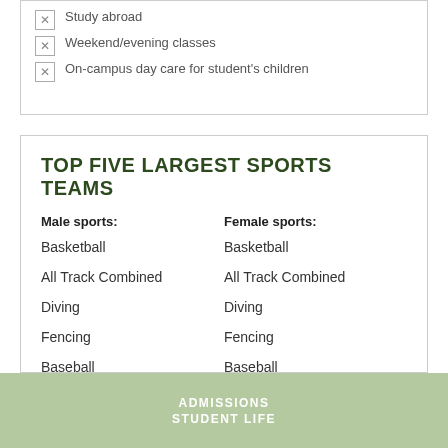Study abroad
Weekend/evening classes
On-campus day care for student's children
TOP FIVE LARGEST SPORTS TEAMS
Male sports:
Female sports:
Basketball
Basketball
All Track Combined
All Track Combined
Diving
Diving
Fencing
Fencing
Baseball
Baseball
FULL LIST OF ATHLETICS
ADMISSIONS
STUDENT LIFE